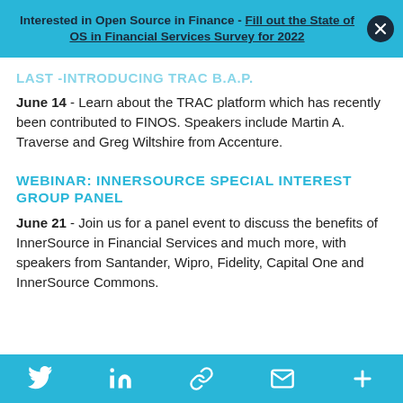Interested in Open Source in Finance - Fill out the State of OS in Financial Services Survey for 2022
LAST - INTRODUCING TRAC B.A.P.
June 14 - Learn about the TRAC platform which has recently been contributed to FINOS. Speakers include Martin A. Traverse and Greg Wiltshire from Accenture.
WEBINAR: INNERSOURCE SPECIAL INTEREST GROUP PANEL
June 21 - Join us for a panel event to discuss the benefits of InnerSource in Financial Services and much more, with speakers from Santander, Wipro, Fidelity, Capital One and InnerSource Commons.
Social share bar: Twitter, LinkedIn, Link, Email, More